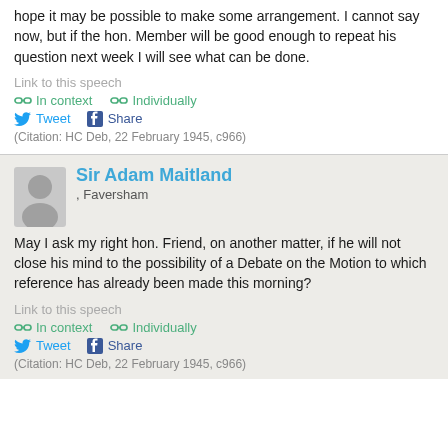hope it may be possible to make some arrangement. I cannot say now, but if the hon. Member will be good enough to repeat his question next week I will see what can be done.
Link to this speech
In context   Individually
Tweet   Share
(Citation: HC Deb, 22 February 1945, c966)
Sir Adam Maitland
, Faversham
May I ask my right hon. Friend, on another matter, if he will not close his mind to the possibility of a Debate on the Motion to which reference has already been made this morning?
Link to this speech
In context   Individually
Tweet   Share
(Citation: HC Deb, 22 February 1945, c966)